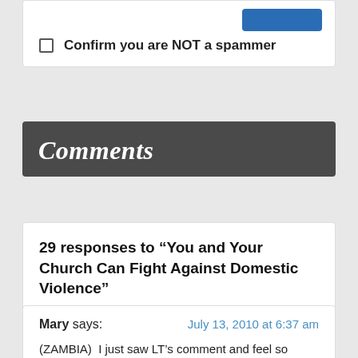Confirm you are NOT a spammer
Comments
29 responses to “You and Your Church Can Fight Against Domestic Violence”
Mary says: July 13, 2010 at 6:37 am
(ZAMBIA)  I just saw LT’s comment and feel so saddened that her situation ended up in her marriage being dissolved. I used to read her comments from time to time and at some point I just lost her. LT, wherever you are know that there are some sisters